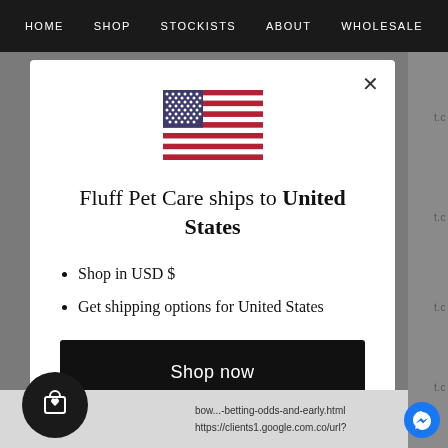HOME   SHOP   STOCKISTS   ABOUT   WHOLESALE
[Figure (illustration): US flag illustration with stars and stripes]
Fluff Pet Care ships to United States
Shop in USD $
Get shipping options for United States
Shop now
Change shipping country
bow...betting-odds-and-early.html
https://clients1.google.com.co/url?